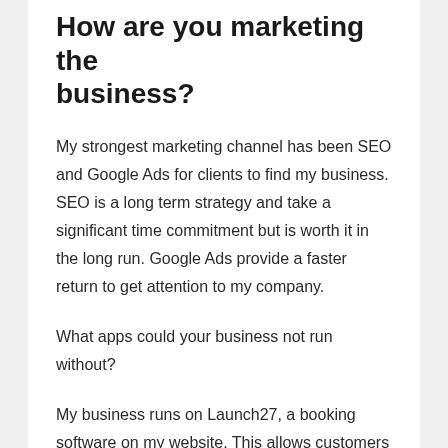How are you marketing the business?
My strongest marketing channel has been SEO and Google Ads for clients to find my business. SEO is a long term strategy and take a significant time commitment but is worth it in the long run. Google Ads provide a faster return to get attention to my company.
What apps could your business not run without?
My business runs on Launch27, a booking software on my website. This allows customers to book online and for me to manage bookings and cleaners. Another app that I use is